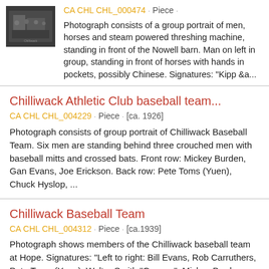[Figure (photo): Small black and white thumbnail photograph of group portrait with horses and threshing machine]
CA CHL CHL_000474 · Piece · Photograph consists of a group portrait of men, horses and steam powered threshing machine, standing in front of the Nowell barn. Man on left in group, standing in front of horses with hands in pockets, possibly Chinese. Signatures: "Kipp &a...
Chilliwack Athletic Club baseball team...
CA CHL CHL_004229 · Piece · [ca. 1926] · Photograph consists of group portrait of Chilliwack Baseball Team. Six men are standing behind three crouched men with baseball mitts and crossed bats. Front row: Mickey Burden, Gan Evans, Joe Erickson. Back row: Pete Toms (Yuen), Chuck Hyslop, ...
Chilliwack Baseball Team
CA CHL CHL_004312 · Piece · [ca.1939] · Photograph shows members of the Chilliwack baseball team at Hope. Signatures: "Left to right: Bill Evans, Rob Carruthers, Pete Toms (Yuen), Walter Smith "Goosey", Mickey Burden, Dan Evans, Joe Erickson, Ed Edgar, Arthur Graham"